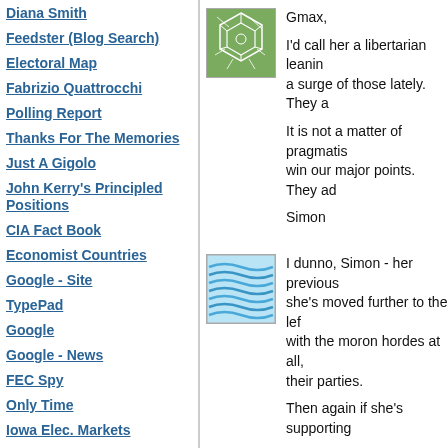Diana Smith
Feedster (Blog Search)
Electoral Map
Fabrizio Quattrocchi
Polling Report
Thanks For The Memories
Just A Gigolo
John Kerry's Principled Positions
CIA Fact Book
Economist Countries
Google - Site
TypePad
Google
Google - News
FEC Spy
Only Time
Iowa Elec. Markets
White House Press
[Figure (illustration): Green mosaic/stone pattern avatar icon]
Gmax,

I'd call her a libertarian leaning a surge of those lately. They a

It is not a matter of pragmatis win our major points. They ad

Simon
[Figure (illustration): Blue wavy lines avatar icon]
I dunno, Simon - her previous she's moved further to the lef with the moron hordes at all, their parties.

Then again if she's supporting
[Figure (illustration): Green mosaic/stone pattern avatar icon (smaller, partial)]
Porch,